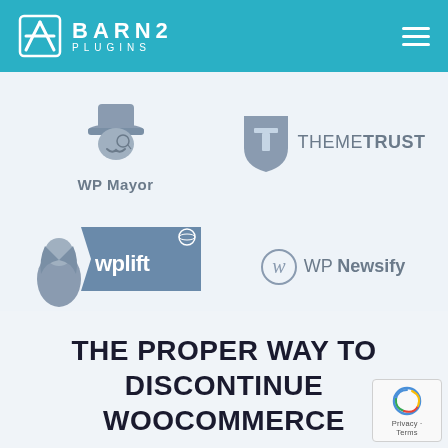BARN2 PLUGINS
[Figure (logo): WP Mayor logo - illustrated man with top hat and monocle, grey tones, with text WP Mayor below]
[Figure (logo): ThemeTrust logo - grey shield with T letter, text THEME TRUST beside it]
[Figure (logo): WPLift logo - woman with flag banner reading wplift with planet icon]
[Figure (logo): WP Newsify logo - stylized W circle icon with text WP Newsify]
THE PROPER WAY TO DISCONTINUE WOOCOMMERCE